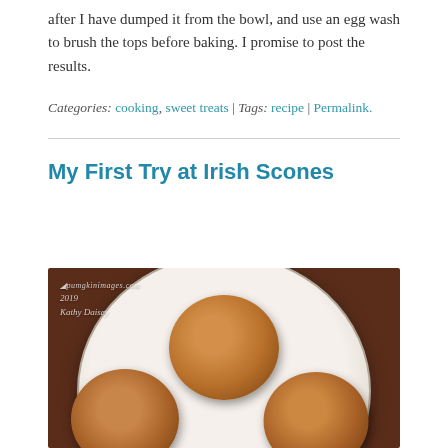after I have dumped it from the bowl, and use an egg wash to brush the tops before baking. I promise to post the results.
Categories: cooking, sweet treats | Tags: recipe | Permalink.
My First Try at Irish Scones
[Figure (photo): Overhead photo of three golden-brown round Irish scones arranged on a decorative white plate with floral border, placed on a dark wooden table. Watermark reads '2019 Kathy Daisey' with a website arc above.]